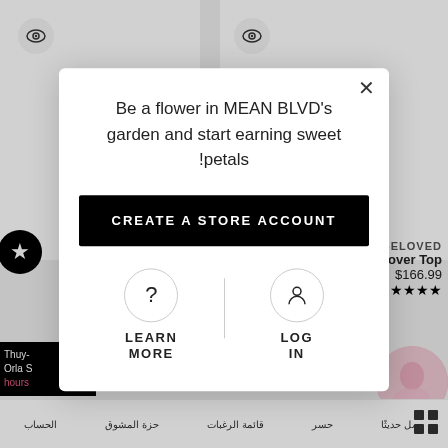[Figure (screenshot): Background e-commerce product listing page with product cards, eye icons, star icon, product info for BELOVED crossover top at $166.99 with 5 stars, and Arabic navigation bar at bottom]
Be a flower in MEAN BLVD's garden and start earning sweet !petals
CREATE A STORE ACCOUNT
LEARN MORE
LOG IN